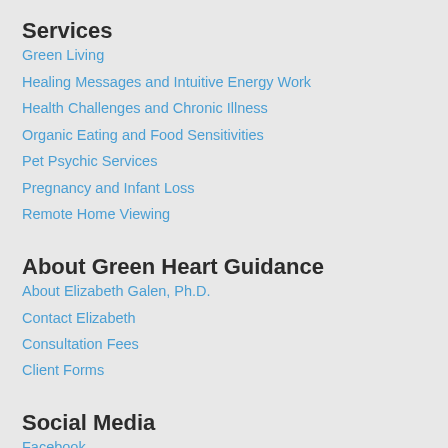Services
Green Living
Healing Messages and Intuitive Energy Work
Health Challenges and Chronic Illness
Organic Eating and Food Sensitivities
Pet Psychic Services
Pregnancy and Infant Loss
Remote Home Viewing
About Green Heart Guidance
About Elizabeth Galen, Ph.D.
Contact Elizabeth
Consultation Fees
Client Forms
Social Media
Facebook
Flickr
Goodreads